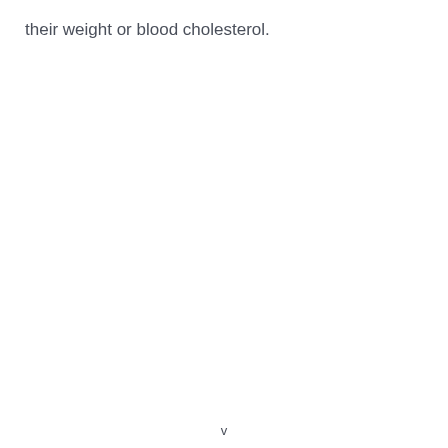their weight or blood cholesterol.
v